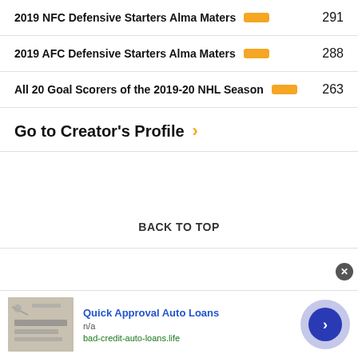2019 NFC Defensive Starters Alma Maters  291
2019 AFC Defensive Starters Alma Maters  288
All 20 Goal Scorers of the 2019-20 NHL Season  263
Go to Creator's Profile >
BACK TO TOP
[Figure (screenshot): Advertisement banner: Quick Approval Auto Loans, n/a, bad-credit-auto-loans.life with image of documents and navigation arrow button]